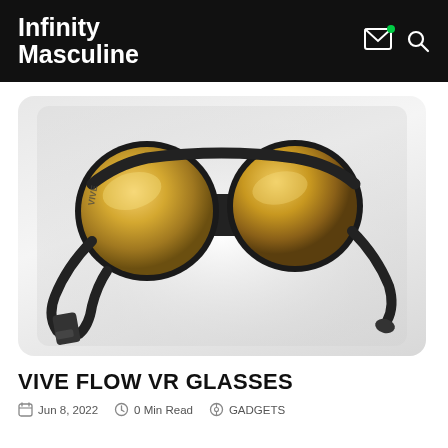Infinity Masculine
[Figure (photo): HTC Vive Flow VR glasses with gold-mirrored circular lenses and black frame, shown at an angle on a white/grey gradient background]
VIVE FLOW VR GLASSES
Jun 8, 2022   0 Min Read   GADGETS